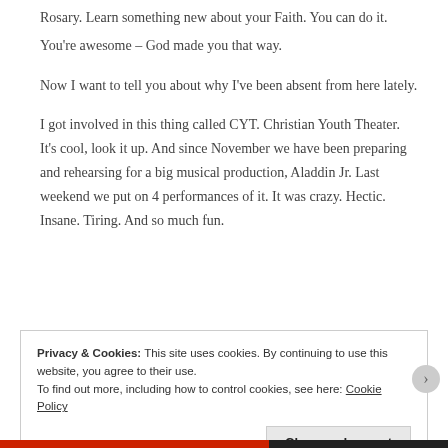Rosary. Learn something new about your Faith. You can do it.
You're awesome – God made you that way.
Now I want to tell you about why I've been absent from here lately.
I got involved in this thing called CYT. Christian Youth Theater. It's cool, look it up. And since November we have been preparing and rehearsing for a big musical production, Aladdin Jr. Last weekend we put on 4 performances of it. It was crazy. Hectic. Insane. Tiring. And so much fun.
Privacy & Cookies: This site uses cookies. By continuing to use this website, you agree to their use.
To find out more, including how to control cookies, see here: Cookie Policy
Close and accept